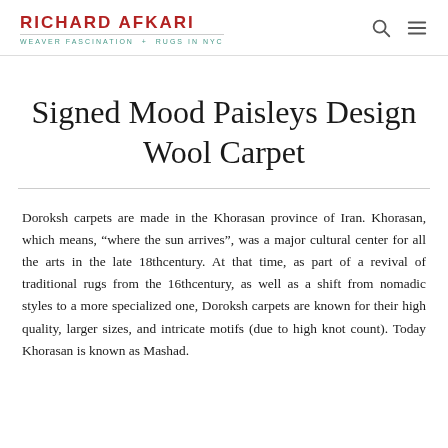RICHARD AFKARI | WEAVER FASCINATION + RUGS IN NYC
Signed Mood Paisleys Design Wool Carpet
Doroksh carpets are made in the Khorasan province of Iran. Khorasan, which means, “where the sun arrives”, was a major cultural center for all the arts in the late 18thcentury. At that time, as part of a revival of traditional rugs from the 16thcentury, as well as a shift from nomadic styles to a more specialized one, Doroksh carpets are known for their high quality, larger sizes, and intricate motifs (due to high knot count). Today Khorasan is known as Mashad.